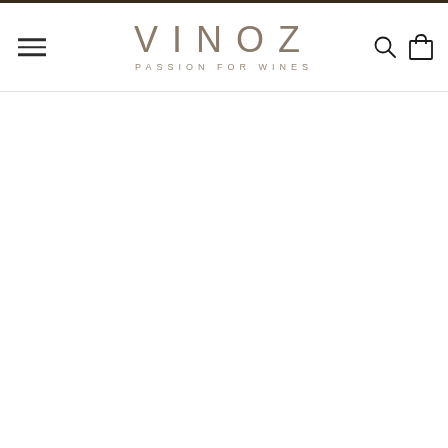VINOZ — Passion for wines
[Figure (screenshot): VINOZ wine shop website header with hamburger menu icon on the left, VINOZ logo in center with 'Passion for wines' tagline, search and cart icons on the right. Brown top bar accent. Below is a white content area.]